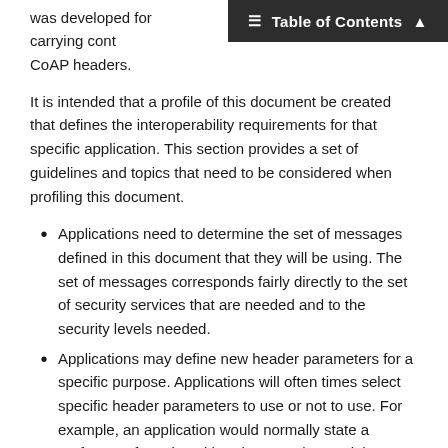Table of Contents
was developed for carrying cont... CoAP headers.
It is intended that a profile of this document be created that defines the interoperability requirements for that specific application. This section provides a set of guidelines and topics that need to be considered when profiling this document.
Applications need to determine the set of messages defined in this document that they will be using. The set of messages corresponds fairly directly to the set of security services that are needed and to the security levels needed.
Applications may define new header parameters for a specific purpose. Applications will often times select specific header parameters to use or not to use. For example, an application would normally state a preference for using either the IV or the Partial IV header parameter. If the Partial IV header parameter is specified, then the application also needs to define how the fixed